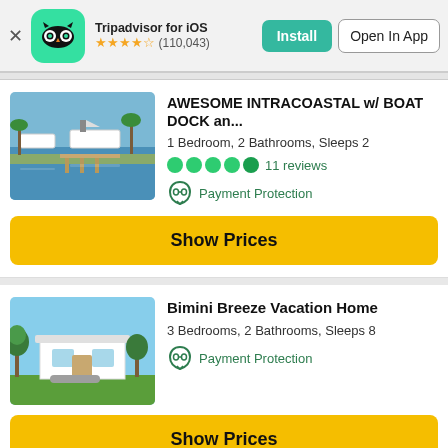[Figure (screenshot): Tripadvisor app banner with owl logo on green background, Install and Open In App buttons, 4.5 star rating, (110,043) reviews]
AWESOME INTRACOASTAL w/ BOAT DOCK an...
1 Bedroom, 2 Bathrooms, Sleeps 2
11 reviews
Payment Protection
Show Prices
Bimini Breeze Vacation Home
3 Bedrooms, 2 Bathrooms, Sleeps 8
Payment Protection
Show Prices